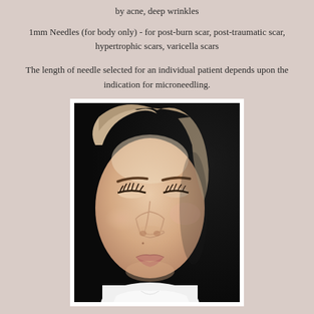by acne, deep wrinkles
1mm Needles (for body only) - for post-burn scar, post-traumatic scar, hypertrophic scars, varicella scars
The length of needle selected for an individual patient depends upon the indication for microneedling.
[Figure (photo): Close-up portrait photo of an Asian woman with eyes closed, showing her face from a slightly angled perspective. She has defined eyebrows, long lashes, and clear skin. She is wearing a white garment. The background is dark/black.]